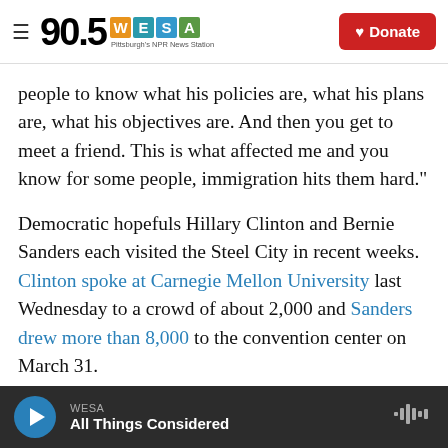90.5 WESA — Pittsburgh's NPR News Station | Donate
people to know what his policies are, what his plans are, what his objectives are. And then you get to meet a friend. This is what affected me and you know for some people, immigration hits them hard."
Democratic hopefuls Hillary Clinton and Bernie Sanders each visited the Steel City in recent weeks. Clinton spoke at Carnegie Mellon University last Wednesday to a crowd of about 2,000 and Sanders drew more than 8,000 to the convention center on March 31.
WESA — All Things Considered